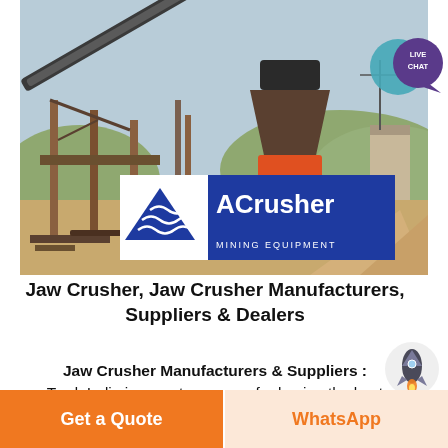[Figure (photo): Industrial jaw crusher / mining equipment plant with conveyor belts, machinery and an ACrusher Mining Equipment logo overlay at the bottom center of the image.]
Jaw Crusher, Jaw Crusher Manufacturers, Suppliers & Dealers
Jaw Crusher Manufacturers & Suppliers : TradeIndia is one-stop source for buying the best Jaw Crusher online from verified suppliers, dealers,